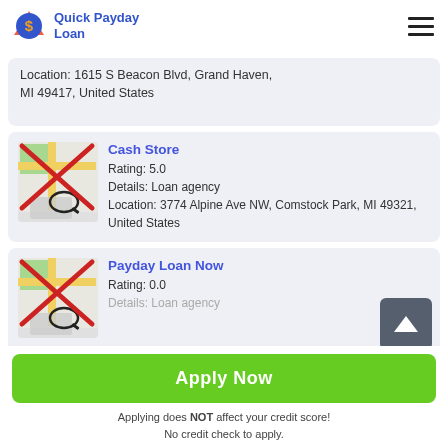Quick Payday Loan
Location: 1615 S Beacon Blvd, Grand Haven, MI 49417, United States
Cash Store
Rating: 5.0
Details: Loan agency
Location: 3774 Alpine Ave NW, Comstock Park, MI 49321, United States
Payday Loan Now
Rating: 0.0
Details: Loan agency
Apply Now
Applying does NOT affect your credit score!
No credit check to apply.